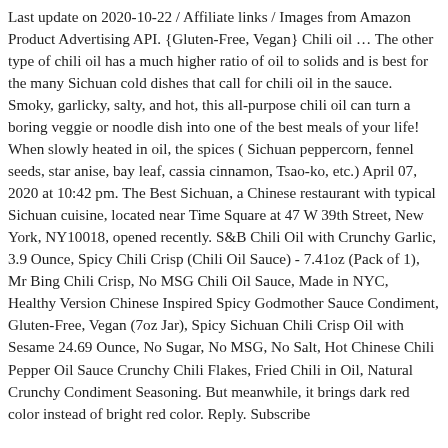Last update on 2020-10-22 / Affiliate links / Images from Amazon Product Advertising API. {Gluten-Free, Vegan} Chili oil … The other type of chili oil has a much higher ratio of oil to solids and is best for the many Sichuan cold dishes that call for chili oil in the sauce. Smoky, garlicky, salty, and hot, this all-purpose chili oil can turn a boring veggie or noodle dish into one of the best meals of your life! When slowly heated in oil, the spices ( Sichuan peppercorn, fennel seeds, star anise, bay leaf, cassia cinnamon, Tsao-ko, etc.) April 07, 2020 at 10:42 pm. The Best Sichuan, a Chinese restaurant with typical Sichuan cuisine, located near Time Square at 47 W 39th Street, New York, NY10018, opened recently. S&B Chili Oil with Crunchy Garlic, 3.9 Ounce, Spicy Chili Crisp (Chili Oil Sauce) - 7.41oz (Pack of 1), Mr Bing Chili Crisp, No MSG Chili Oil Sauce, Made in NYC, Healthy Version Chinese Inspired Spicy Godmother Sauce Condiment, Gluten-Free, Vegan (7oz Jar), Spicy Sichuan Chili Crisp Oil with Sesame 24.69 Ounce, No Sugar, No MSG, No Salt, Hot Chinese Chili Pepper Oil Sauce Crunchy Chili Flakes, Fried Chili in Oil, Natural Crunchy Condiment Seasoning. But meanwhile, it brings dark red color instead of bright red color. Reply. Subscribe